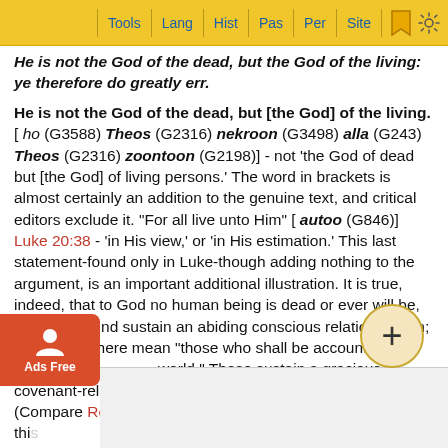Tools | Lang | Hist | Pas | Per | Site
He is not the God of the dead, but the God of the living: ye therefore do greatly err.
He is not the God of the dead, but [the God] of the living. [ ho (G3588) Theos (G2316) nekroon (G3498) alla (G243) Theos (G2316) zoontoon (G2198)] - not 'the God of dead but [the God] of living persons.' The word in brackets is almost certainly an addition to the genuine text, and critical editors exclude it. "For all live unto Him" [ autoo (G846)] Luke 20:38 - 'in His view,' or 'in His estimation.' This last statement-found only in Luke-though adding nothing to the argument, is an important additional illustration. It is true, indeed, that to God no human being is dead or ever will be, but all mankind sustain an abiding conscious relation to Him; but the "all" here mean "those who shall be accounted worthy to obtain that world." These sustain a gracious covenant-relation to God which cannot be dissolved. (Compare Romans 6:10-11.) In this... Lord the "G... nt they h...